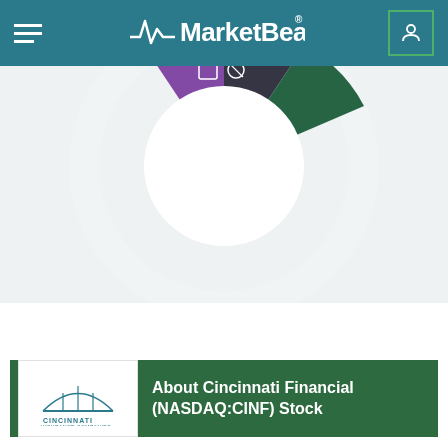MarketBeat
[Figure (donut-chart): Partial donut/radar chart showing colored segments (purple, dark, green) visible at top of page, cropped]
SEE FULL DETAILS
About Cincinnati Financial (NASDAQ:CINF) Stock
Cincinnati Financial Corporation, together with its subsidiaries, provides property casualty insurance products in the United States. The company operates through five segments: Commercial Lines Insurance, Personal Lines Insurance,